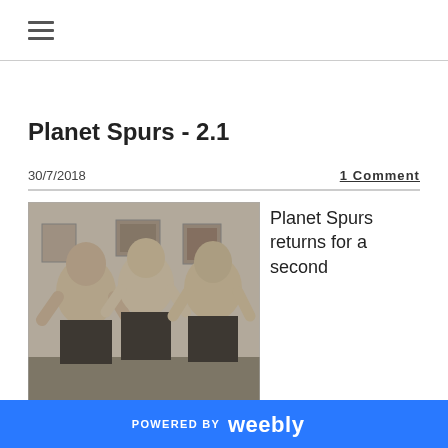≡
Planet Spurs - 2.1
30/7/2018
1 Comment
[Figure (photo): Black and white newspaper photograph of three shirtless men standing with hands on hips, likely sportsmen/wrestlers, with pictures visible on the wall behind them.]
Planet Spurs returns for a second
POWERED BY weebly